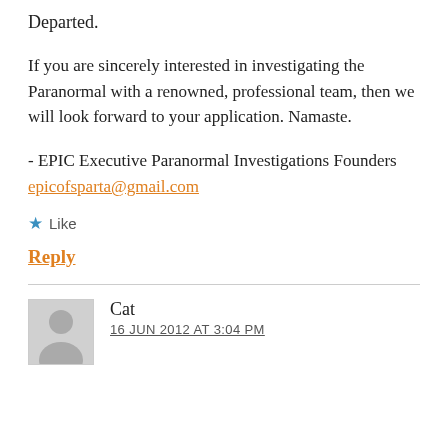Departed.
If you are sincerely interested in investigating the Paranormal with a renowned, professional team, then we will look forward to your application. Namaste.
- EPIC Executive Paranormal Investigations Founders
epicofsparta@gmail.com
★ Like
Reply
Cat
16 JUN 2012 AT 3:04 PM